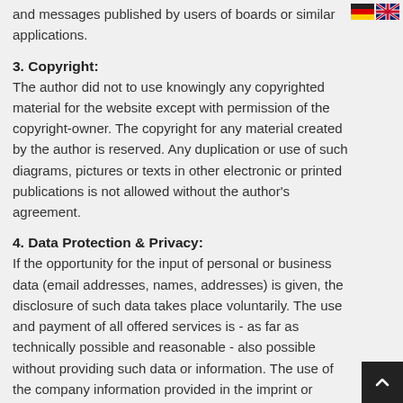and messages published by users of boards or similar applications.
[Figure (illustration): German and UK flag icons in top-right corner]
3. Copyright:
The author did not to use knowingly any copyrighted material for the website except with permission of the copyright-owner. The copyright for any material created by the author is reserved. Any duplication or use of such diagrams, pictures or texts in other electronic or printed publications is not allowed without the author's agreement.
4. Data Protection & Privacy:
If the opportunity for the input of personal or business data (email addresses, names, addresses) is given, the disclosure of such data takes place voluntarily. The use and payment of all offered services is - as far as technically possible and reasonable - also possible without providing such data or information. The use of the company information provided in the imprint or comparable contact details published, such as postal